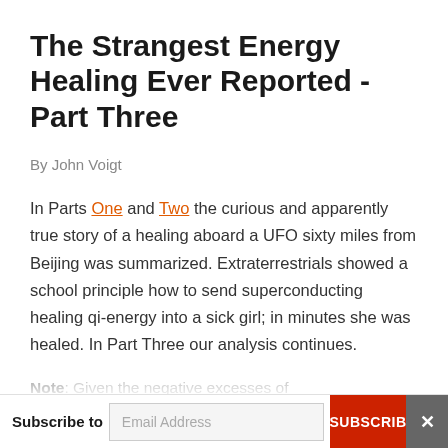The Strangest Energy Healing Ever Reported - Part Three
By John Voigt
In Parts One and Two the curious and apparently true story of a healing aboard a UFO sixty miles from Beijing was summarized. Extraterrestrials showed a school principle how to send superconducting healing qi-energy into a sick girl; in minutes she was healed. In Part Three our analysis continues.
Note: Given the negative excesses of skeptics
Subscribe to  Email Address  SUBSCRIBE